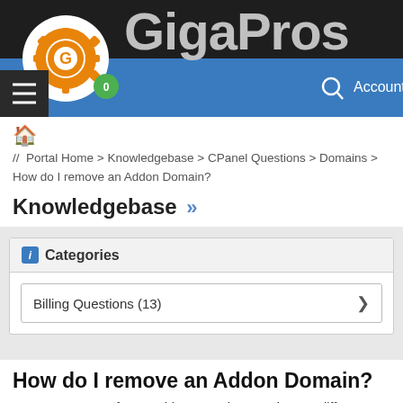[Figure (logo): GigaPros website header with logo (orange gear with G), site name in gray metallic text on dark/blue gradient background, hamburger menu, cart badge showing 0, search icon and Account link]
Portal Home > Knowledgebase > CPanel Questions > Domains > How do I remove an Addon Domain?
Knowledgebase »
Categories
Billing Questions (13)
How do I remove an Addon Domain?
You can set any of your Addon Domains to point to a different location